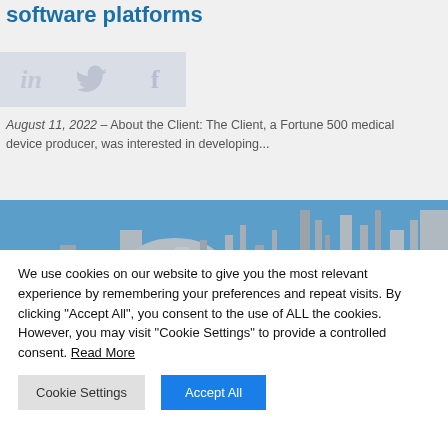software platforms
[Figure (illustration): Social media sharing icons: LinkedIn (in), Twitter (bird), Facebook (f) rendered as faded overlay icons]
August 11, 2022 – About the Client: The Client, a Fortune 500 medical device producer, was interested in developing...
[Figure (photo): Industrial refinery or chemical plant with large silver pipes and metal structures against a blue sky]
We use cookies on our website to give you the most relevant experience by remembering your preferences and repeat visits. By clicking "Accept All", you consent to the use of ALL the cookies. However, you may visit "Cookie Settings" to provide a controlled consent. Read More
Cookie Settings | Accept All